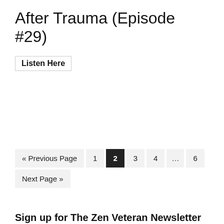After Trauma (Episode #29)
Listen Here
« Previous Page  1  2  3  4  ...  6  Next Page »
Sign up for The Zen Veteran Newsletter
Email Address*